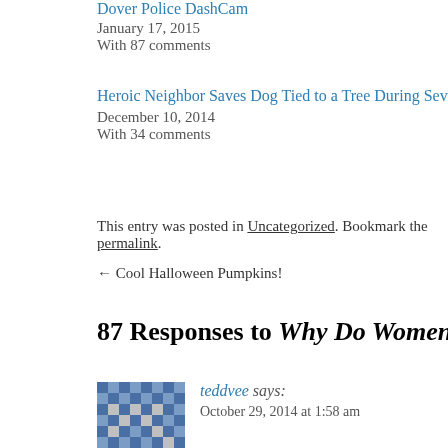Dover Police DashCam
January 17, 2015
With 87 comments
Never Seen Bef...
August 16, 2014
With 87 comme...
Heroic Neighbor Saves Dog Tied to a Tree During Severe Thunderstorm
December 10, 2014
With 34 comments
This entry was posted in Uncategorized. Bookmark the permalink.
← Cool Halloween Pumpkins!
87 Responses to Why Do Women Have to P...
teddvee says:
October 29, 2014 at 1:58 am
was she the only woman walking the streets? how com... type of attention to the other women? is it because the c... clothes that hug their bodies? something to think abou...